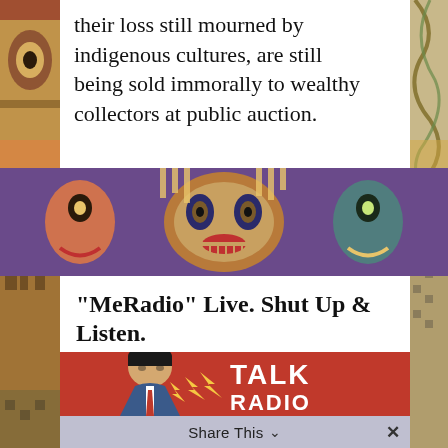their loss still mourned by indigenous cultures, are still being sold immorally to wealthy collectors at public auction.
[Figure (illustration): Colorful band of indigenous art masks and patterns across the middle of the page]
“MeRadio” Live. Shut Up & Listen.
[Figure (illustration): Talk Radio pop-art style image showing a man in a suit with lightning bolts and 'TALK RADIO' text on a red background]
Share This ∨  ×